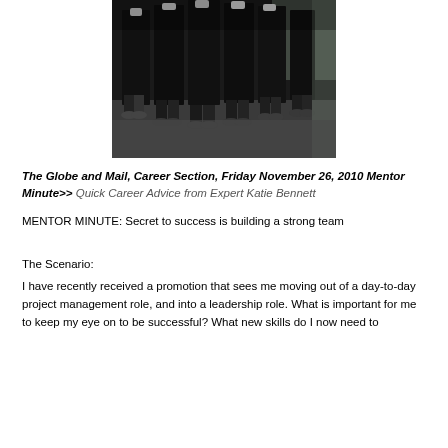[Figure (photo): Black and white photo of multiple people standing in a row wearing dark academic graduation robes and white gloves, only legs and feet visible]
The Globe and Mail, Career Section, Friday November 26, 2010 Mentor Minute>> Quick Career Advice from Expert Katie Bennett
MENTOR MINUTE: Secret to success is building a strong team
The Scenario:
I have recently received a promotion that sees me moving out of a day-to-day project management role, and into a leadership role. What is important for me to keep my eye on to be successful? What new skills do I now need to